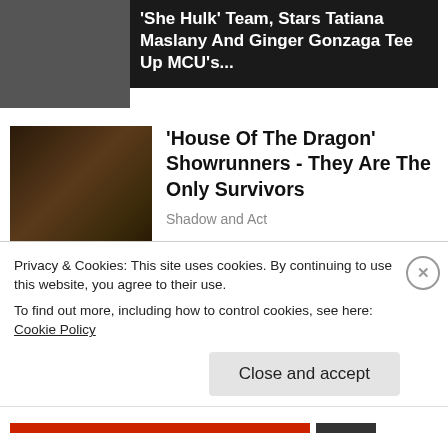[Figure (photo): Top banner with dark image placeholder on left and dark text box on right]
'She Hulk' Team, Stars Tatiana Maslany And Ginger Gonzaga Tee Up MCU's...
[Figure (photo): House of the Dragon cast seated on throne — dark medieval fantasy scene]
'House Of The Dragon' Showrunners - They Are The Only Survivors
Shadow and Act
[Figure (photo): Terrell Owens wearing sunglasses and beige jacket]
Terrell Owens finds out the hard way that white women have perfected weaponizing their...
The Grio
Privacy & Cookies: This site uses cookies. By continuing to use this website, you agree to their use.
To find out more, including how to control cookies, see here: Cookie Policy
Close and accept